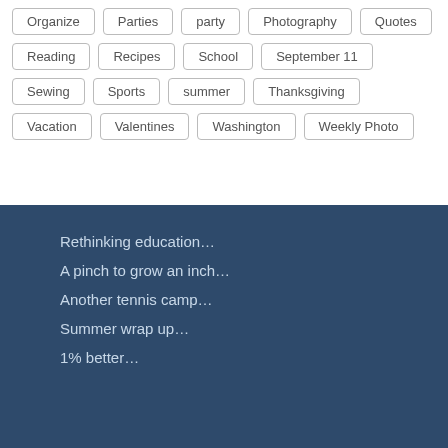Organize
Parties
party
Photography
Quotes
Reading
Recipes
School
September 11
Sewing
Sports
summer
Thanksgiving
Vacation
Valentines
Washington
Weekly Photo
Rethinking education…
A pinch to grow an inch…
Another tennis camp…
Summer wrap up…
1% better…